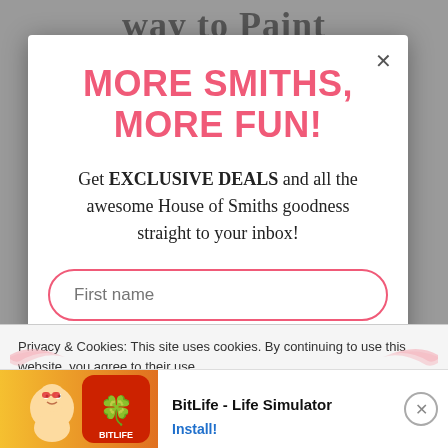way to Paint
MORE SMITHS, MORE FUN!
Get EXCLUSIVE DEALS and all the awesome House of Smiths goodness straight to your inbox!
First name
Privacy & Cookies: This site uses cookies. By continuing to use this website, you agree to their use. To find out more, including how to control cookies, see here: Cookie Policy
[Figure (screenshot): Ad banner for BitLife - Life Simulator app with character illustration and install button]